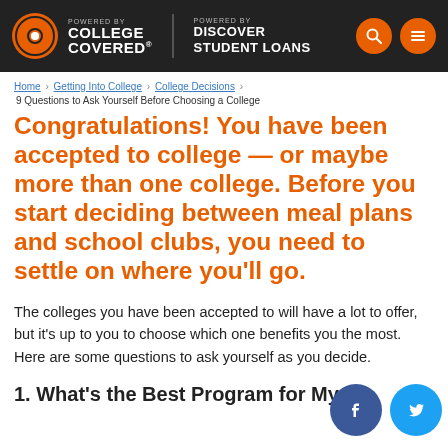COLLEGE COVERED — POWERED BY DISCOVER STUDENT LOANS
Home > Getting Into College > College Decisions > 9 Questions to Ask Yourself Before Choosing a College
Congratulations! You have been accepted to college — or maybe more than one college. Before you start deciding between meal plans and school clubs, you need to settle on where you'll go.
The colleges you have been accepted to will have a lot to offer, but it's up to you to choose which one benefits you the most. Here are some questions to ask yourself as you decide.
1. What's the Best Program for My